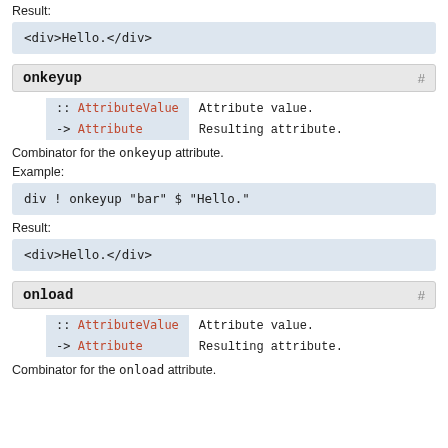Result:
<div onkeypress="bar">Hello.</div>
onkeyup
| Type | Description |
| --- | --- |
| :: AttributeValue | Attribute value. |
| -> Attribute | Resulting attribute. |
Combinator for the onkeyup attribute.
Example:
div ! onkeyup "bar" $ "Hello."
Result:
<div onkeyup="bar">Hello.</div>
onload
| Type | Description |
| --- | --- |
| :: AttributeValue | Attribute value. |
| -> Attribute | Resulting attribute. |
Combinator for the onload attribute.